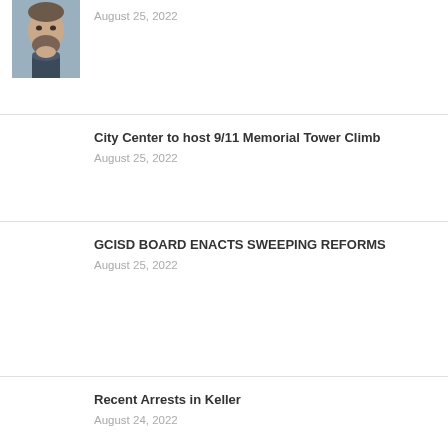[Figure (photo): Mugshot photo of a man with facial hair]
August 25, 2022
City Center to host 9/11 Memorial Tower Climb
August 25, 2022
GCISD BOARD ENACTS SWEEPING REFORMS
August 25, 2022
Recent Arrests in Keller
August 24, 2022